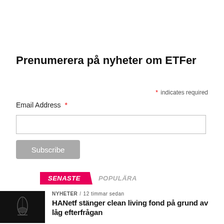Prenumerera på nyheter om ETFer
* indicates required
Email Address *
Subscribe
SENASTE   POPULÄRA
NYHETER / 12 timmar sedan
HANetf stänger clean living fond på grund av låg efterfrågan